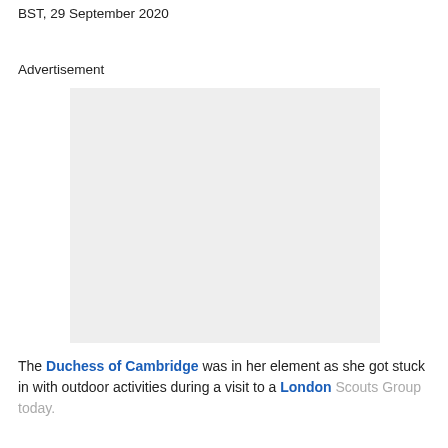Published: 12:42 BST, 29 September 2020 | Updated: 12:42 BST, 29 September 2020
Advertisement
[Figure (other): Advertisement placeholder box (light grey rectangle)]
The Duchess of Cambridge was in her element as she got stuck in with outdoor activities during a visit to a London Scouts Group today.